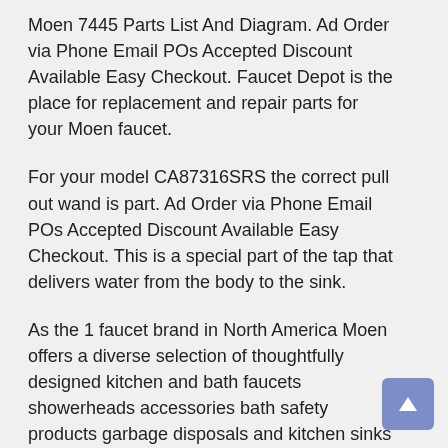Moen 7445 Parts List And Diagram. Ad Order via Phone Email POs Accepted Discount Available Easy Checkout. Faucet Depot is the place for replacement and repair parts for your Moen faucet.
For your model CA87316SRS the correct pull out wand is part. Ad Order via Phone Email POs Accepted Discount Available Easy Checkout. This is a special part of the tap that delivers water from the body to the sink.
As the 1 faucet brand in North America Moen offers a diverse selection of thoughtfully designed kitchen and bath faucets showerheads accessories bath safety products garbage disposals and kitchen sinks for